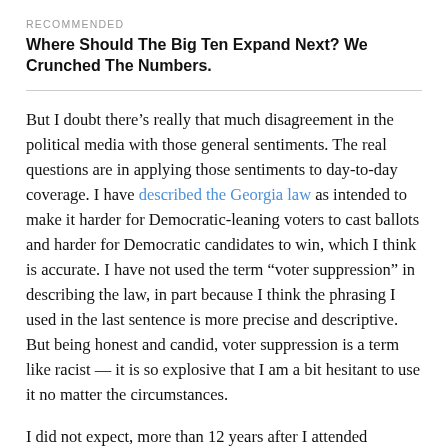RECOMMENDED
Where Should The Big Ten Expand Next? We Crunched The Numbers.
But I doubt there’s really that much disagreement in the political media with those general sentiments. The real questions are in applying those sentiments to day-to-day coverage. I have described the Georgia law as intended to make it harder for Democratic-leaning voters to cast ballots and harder for Democratic candidates to win, which I think is accurate. I have not used the term “voter suppression” in describing the law, in part because I think the phrasing I used in the last sentence is more precise and descriptive. But being honest and candid, voter suppression is a term like racist — it is so explosive that I am a bit hesitant to use it no matter the circumstances.
I did not expect, more than 12 years after I attended